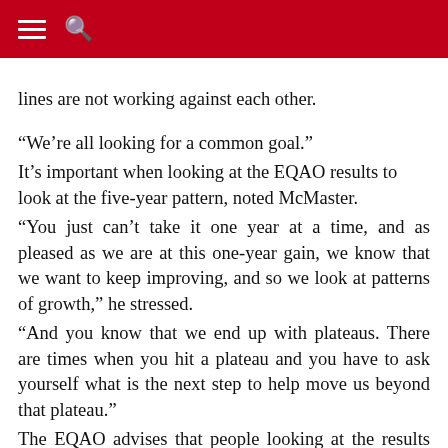lines are not working against each other.
“We’re all looking for a common goal.”
It’s important when looking at the EQAO results to look at the five-year pattern, noted McMaster.
“You just can’t take it one year at a time, and as pleased as we are at this one-year gain, we know that we want to keep improving, and so we look at patterns of growth,” he stressed.
“And you know that we end up with plateaus. There are times when you hit a plateau and you have to ask yourself what is the next step to help move us beyond that plateau.”
The EQAO advises that people looking at the results take into account certain factors, such as school or board size, overall trends for how the board has been doing, and what unique things about a school or community that would have an affect on the results.
As well, when schools have fewer students, overall results easily can be affected by even one student’s scores.